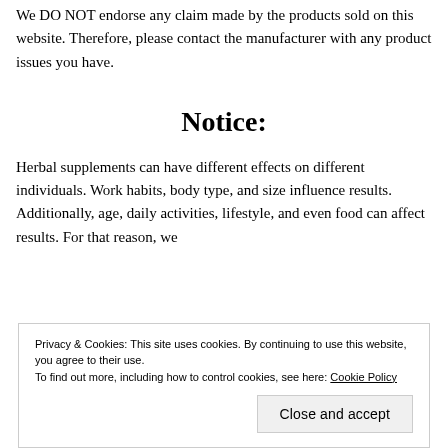We DO NOT endorse any claim made by the products sold on this website. Therefore, please contact the manufacturer with any product issues you have.
Notice:
Herbal supplements can have different effects on different individuals. Work habits, body type, and size influence results. Additionally, age, daily activities, lifestyle, and even food can affect results. For that reason, we
Privacy & Cookies: This site uses cookies. By continuing to use this website, you agree to their use. To find out more, including how to control cookies, see here: Cookie Policy
Close and accept